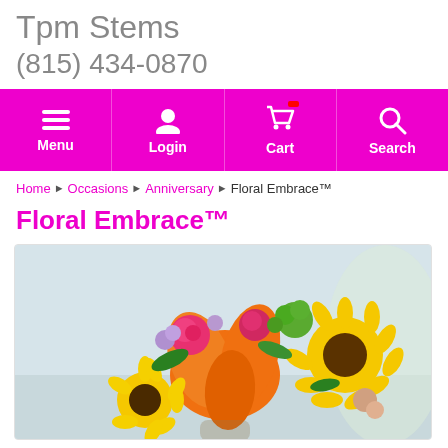Tpm Stems
(815) 434-0870
[Figure (screenshot): Navigation bar with magenta/pink background containing Menu, Login, Cart, and Search icons with labels]
Home › Occasions › Anniversary › Floral Embrace™
Floral Embrace™
[Figure (photo): Photo of a colorful flower bouquet featuring orange lilies, yellow sunflowers, pink roses, purple flowers, and green accents in a vase against a light blue background]